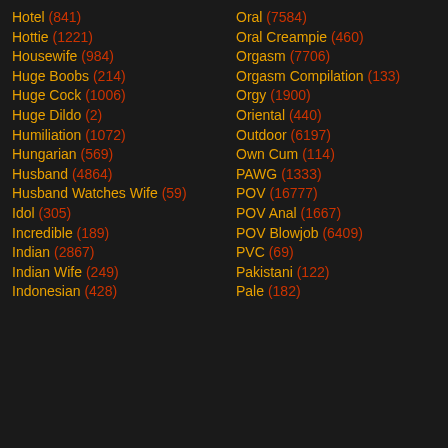Hotel (841)
Oral (7584)
Hottie (1221)
Oral Creampie (460)
Housewife (984)
Orgasm (7706)
Huge Boobs (214)
Orgasm Compilation (133)
Huge Cock (1006)
Orgy (1900)
Huge Dildo (2)
Oriental (440)
Humiliation (1072)
Outdoor (6197)
Hungarian (569)
Own Cum (114)
Husband (4864)
PAWG (1333)
Husband Watches Wife (59)
POV (16777)
Idol (305)
POV Anal (1667)
Incredible (189)
POV Blowjob (6409)
Indian (2867)
PVC (69)
Indian Wife (249)
Pakistani (122)
Indonesian (428)
Pale (182)